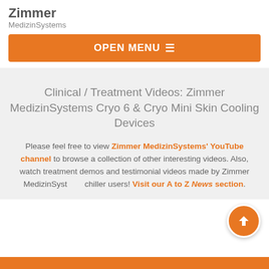[Figure (logo): Zimmer MedizinSystems logo with bold 'Zimmer' text above smaller 'MedizinSystems' text in gray]
OPEN MENU ≡
Clinical / Treatment Videos: Zimmer MedizinSystems Cryo 6 & Cryo Mini Skin Cooling Devices
Please feel free to view Zimmer MedizinSystems' YouTube channel to browse a collection of other interesting videos. Also, watch treatment demos and testimonial videos made by Zimmer MedizinSystems chiller users! Visit our A to Z News section.